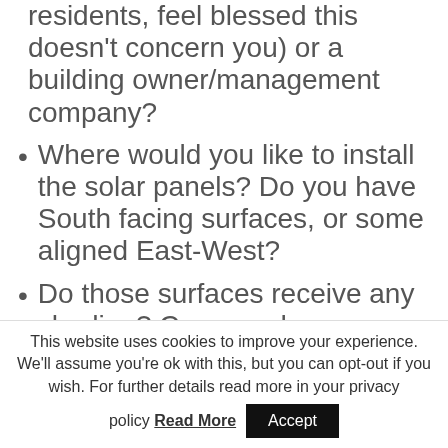residents, feel blessed this doesn't concern you) or a building owner/management company?
Where would you like to install the solar panels? Do you have South facing surfaces, or some aligned East-West?
Do those surfaces receive any shading? Can you do something about that shading (please don't cut down any trees for this)?
How much energy does your household use each month and when are your peak usage times? If they are in the mornings
This website uses cookies to improve your experience. We'll assume you're ok with this, but you can opt-out if you wish. For further details read more in your privacy policy Read More Accept